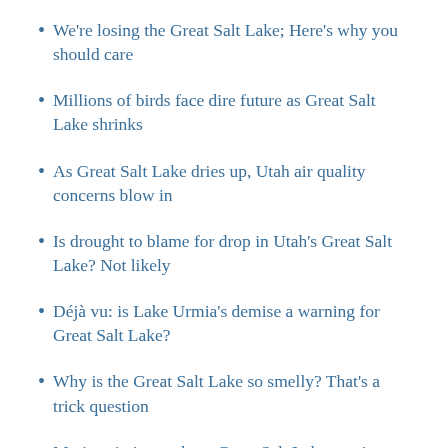We're losing the Great Salt Lake; Here's why you should care
Millions of birds face dire future as Great Salt Lake shrinks
As Great Salt Lake dries up, Utah air quality concerns blow in
Is drought to blame for drop in Utah's Great Salt Lake? Not likely
Déjà vu: is Lake Urmia's demise a warning for Great Salt Lake?
Why is the Great Salt Lake so smelly? That's a trick question
Marines in jeopardy as Great Salt Lake continues to…